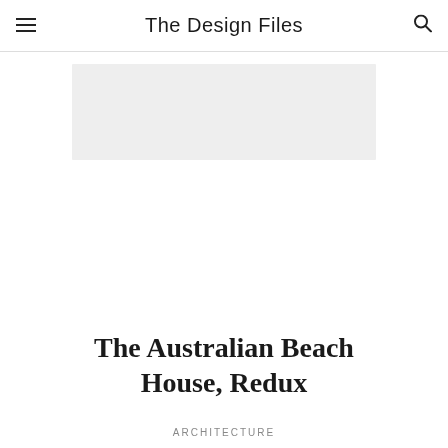The Design Files
[Figure (other): Light grey advertisement banner placeholder rectangle]
The Australian Beach House, Redux
ARCHITECTURE